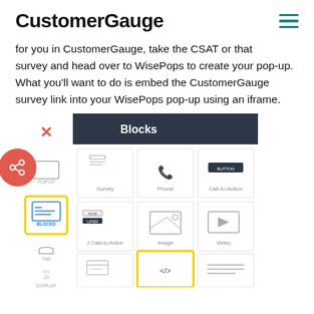CustomerGauge
for you in CustomerGauge, take the CSAT or that survey and head over to WisePops to create your pop-up. What you'll want to do is embed the CustomerGauge survey link into your WisePops pop-up using an iframe.
[Figure (screenshot): Screenshot of WisePops block editor showing Blocks panel with Survey, Phone, Call-to-Action, 2 Calls-to-Action, Image, and Video block options. The Blocks item in the left sidebar is highlighted with a yellow border. An iframe/HTML block at the bottom is also highlighted with a yellow border.]